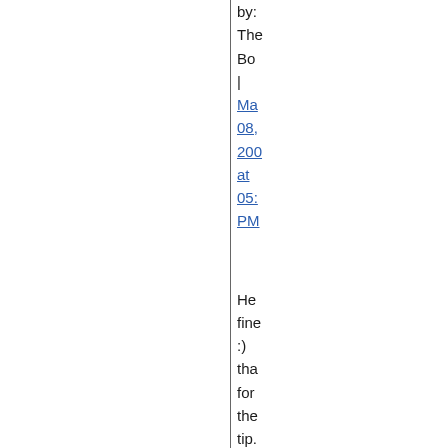by: The Bo | May 08, 200 at 05: PM
Hey find :) tha for the tip.
All tha sai I still wo wh the